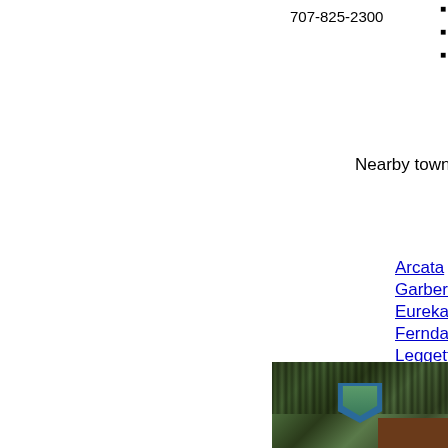707-825-2300
Lo...
Re...
Si...
Nearby towns wit...
Arcata
Garberville
Eureka
Ferndale
Leggett
Orick
Petrolia
Redway
Scotia
Shelter Cov...
[Figure (photo): Photo of forest trees with a National Park or Forest Service arrowhead sign and a brown wooden sign in the foreground]